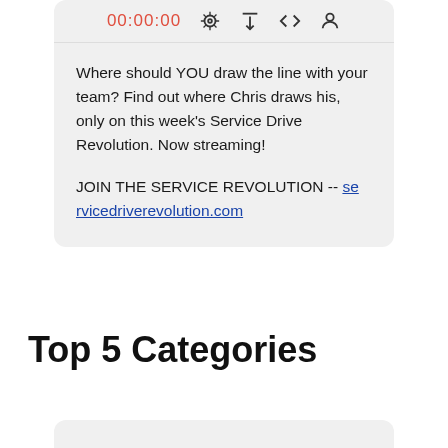[Figure (screenshot): Podcast player bar showing 00:00:00 timestamp in red, and icons for RSS feed, download, embed code, and person/account]
Where should YOU draw the line with your team? Find out where Chris draws his, only on this week's Service Drive Revolution. Now streaming!
JOIN THE SERVICE REVOLUTION -- servicedriverevolution.com
Top 5 Categories
[Figure (screenshot): Bottom of a card/widget, partially visible]